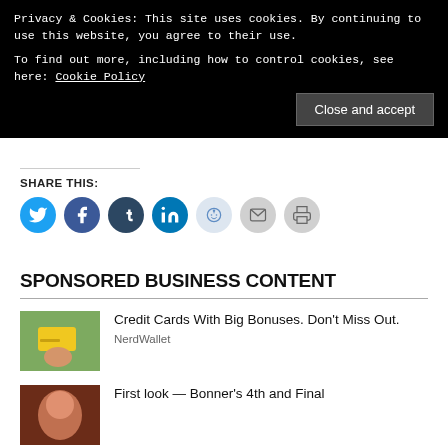Privacy & Cookies: This site uses cookies. By continuing to use this website, you agree to their use.
To find out more, including how to control cookies, see here: Cookie Policy
Close and accept
SHARE THIS:
[Figure (infographic): Social share icons: Twitter (blue), Facebook (dark blue), Tumblr (dark), LinkedIn (blue), Reddit (light blue), Email (gray), Print (gray)]
SPONSORED BUSINESS CONTENT
[Figure (photo): Hand holding a yellow credit card against green background]
Credit Cards With Big Bonuses. Don't Miss Out.
NerdWallet
[Figure (photo): Person's face against dark red background]
First look — Bonner's 4th and Final